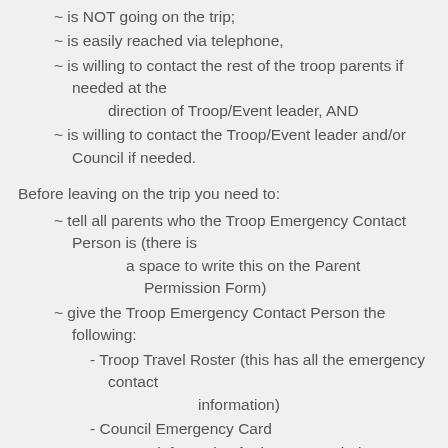~ is NOT going on the trip;
~ is easily reached via telephone,
~ is willing to contact the rest of the troop parents if needed at the direction of Troop/Event leader, AND
~ is willing to contact the Troop/Event leader and/or Council if needed.
Before leaving on the trip you need to:
~ tell all parents who the Troop Emergency Contact Person is (there is a space to write this on the Parent Permission Form)
~ give the Troop Emergency Contact Person the following:
- Troop Travel Roster (this has all the emergency contact information)
- Council Emergency Card
- Contact information for how to reach the